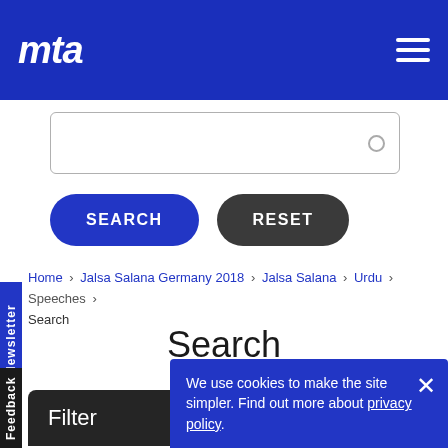mta [logo] [hamburger menu]
[Figure (screenshot): Search input box with magnifier icon]
SEARCH   RESET
Home › Jalsa Salana Germany 2018 › Jalsa Salana › Urdu › Speeches › Search
Search
Filter
We use cookies to make the site simpler. Find out more about privacy policy.